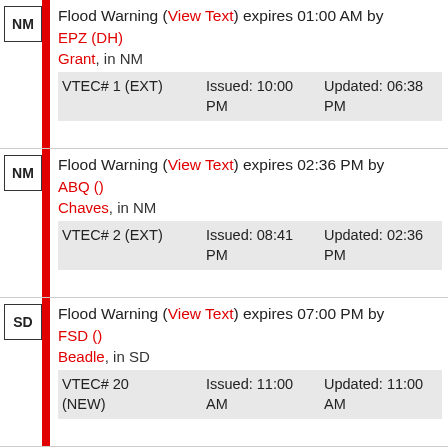NM | Flood Warning (View Text) expires 01:00 AM by EPZ (DH) | Grant, in NM | VTEC# 1 (EXT) Issued: 10:00 PM Updated: 06:38 PM
NM | Flood Warning (View Text) expires 02:36 PM by ABQ () | Chaves, in NM | VTEC# 2 (EXT) Issued: 08:41 PM Updated: 02:36 PM
SD | Flood Warning (View Text) expires 07:00 PM by FSD () | Beadle, in SD | VTEC# 20 (NEW) Issued: 11:00 AM Updated: 11:00 AM